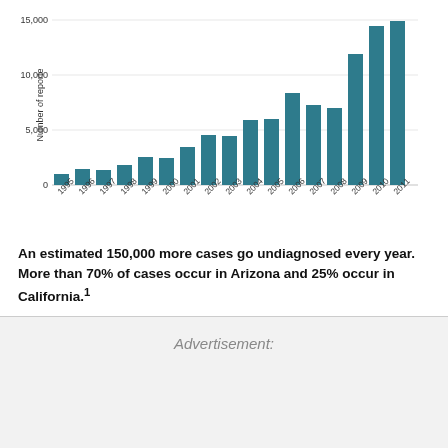[Figure (bar-chart): ]
An estimated 150,000 more cases go undiagnosed every year. More than 70% of cases occur in Arizona and 25% occur in California.1
Advertisement: